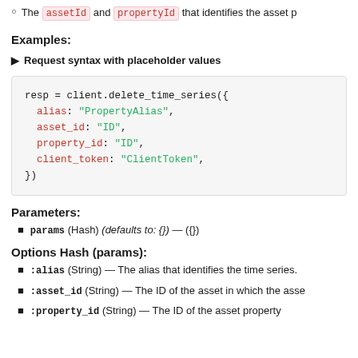The assetId and propertyId that identifies the asset p
Examples:
▶ Request syntax with placeholder values
resp = client.delete_time_series({
  alias: "PropertyAlias",
  asset_id: "ID",
  property_id: "ID",
  client_token: "ClientToken",
})
Parameters:
params (Hash) (defaults to: {}) — ({})
Options Hash (params):
:alias (String) — The alias that identifies the time series.
:asset_id (String) — The ID of the asset in which the asse
:property_id (String) — The ID of the asset property